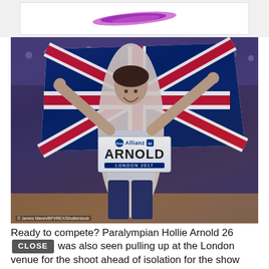[Figure (photo): Top banner area with logo/splash graphic showing purple/magenta brush stroke on white background]
[Figure (photo): Paralympian Hollie Arnold holding up a Union Jack flag, wearing a Great Britain athletics kit with Allianz bib showing her name ARNOLD and LONDON 2017, smiling at camera in a stadium]
© James Marsh/BPI/REX/Shutterstock
Ready to compete? Paralympian Hollie Arnold 26 was also seen pulling up at the London venue for the shoot ahead of isolation for the show